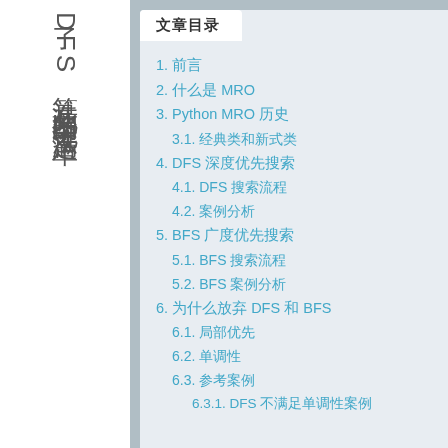了DFS算法在此案例中无法满足单
文章目录
1. 前言
2. 什么是 MRO
3. Python MRO 历史
3.1. 经典类和新式类
4. DFS 深度优先搜索
4.1. DFS 搜索流程
4.2. 案例分析
5. BFS 广度优先搜索
5.1. BFS 搜索流程
5.2. BFS 案例分析
6. 为什么放弃 DFS 和 BFS
6.1. 局部优先
6.2. 单调性
6.3. 参考案例
6.3.1. DFS 不满足单调性案例